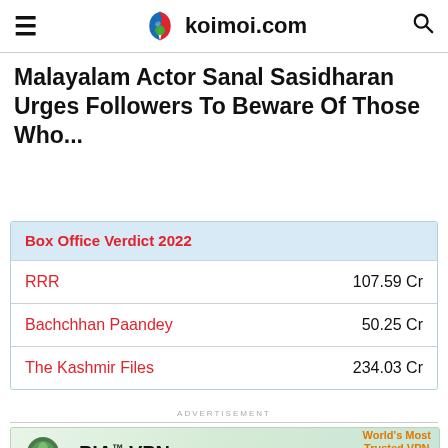koimoi.com
Malayalam Actor Sanal Sasidharan Urges Followers To Beware Of Those Who...
| Box Office Verdict 2022 |  |
| --- | --- |
| RRR | 107.59 Cr |
| Bachchhan Paandey | 50.25 Cr |
| The Kashmir Files | 234.03 Cr |
[Figure (other): PIA VPN advertisement banner — World's Most Trusted VPN]